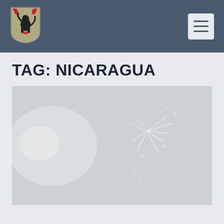[Figure (logo): Coat of arms shield logo with black lion and red hands on grey background]
[Figure (other): Hamburger menu icon button (three horizontal lines) on light grey background]
TAG: NICARAGUA
[Figure (photo): Light grey-toned photograph showing fireworks or sparks against a pale background]